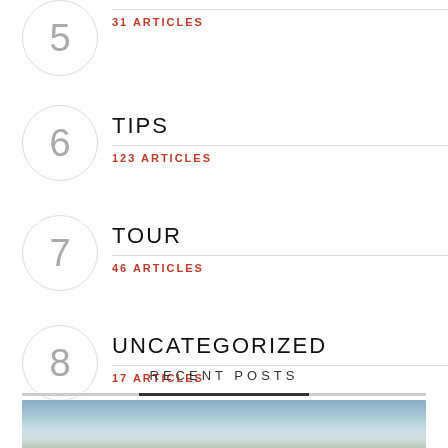5 — 31 ARTICLES
6 TIPS — 123 ARTICLES
7 TOUR — 46 ARTICLES
8 UNCATEGORIZED — 17 ARTICLES
RECENT POSTS
[Figure (photo): A landscape photo strip at the bottom, showing sky and scenery in blue and green tones]